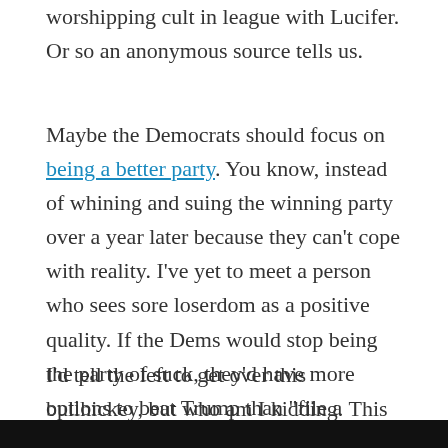worshipping cult in league with Lucifer. Or so an anonymous source tells us.
Maybe the Democrats should focus on being a better party. You know, instead of whining and suing the winning party over a year later because they can't cope with reality. I've yet to meet a person who sees sore loserdom as a positive quality. If the Dems would stop being the party of suck, they'd have more options to beat Trump than "file a lawsuit without any evidence whatsoever."
I'd tell the left to get over this bullhickey, but who am I kidding. This Russia narrative is never-ending:
[Figure (other): Black bar at bottom of page]